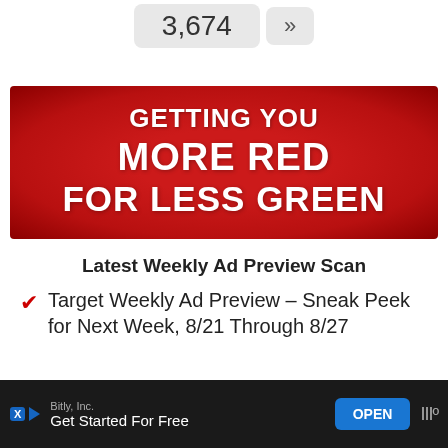3,674 »
[Figure (illustration): Red advertisement banner with text: GETTING YOU MORE RED FOR LESS GREEN, white bold text on red background with radial gradient]
Latest Weekly Ad Preview Scan
Target Weekly Ad Preview – Sneak Peek for Next Week, 8/21 Through 8/27
Bitly, Inc. Get Started For Free OPEN